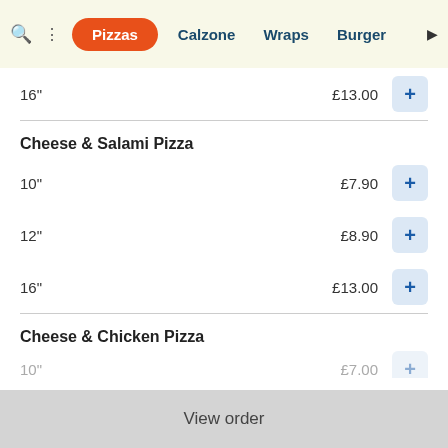Pizzas | Calzone | Wraps | Burger
16" £13.00
Cheese & Salami Pizza
10" £7.90
12" £8.90
16" £13.00
Cheese & Chicken Pizza
10" £7.00
View order